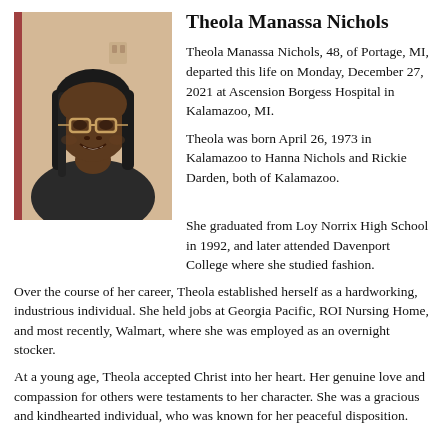[Figure (photo): Portrait photo of Theola Manassa Nichols, a woman with braids and glasses, wearing a dark t-shirt, smiling.]
Theola Manassa Nichols
Theola Manassa Nichols, 48, of Portage, MI, departed this life on Monday, December 27, 2021 at Ascension Borgess Hospital in Kalamazoo, MI.
Theola was born April 26, 1973 in Kalamazoo to Hanna Nichols and Rickie Darden, both of Kalamazoo.
She graduated from Loy Norrix High School in 1992, and later attended Davenport College where she studied fashion.
Over the course of her career, Theola established herself as a hardworking, industrious individual. She held jobs at Georgia Pacific, ROI Nursing Home, and most recently, Walmart, where she was employed as an overnight stocker.
At a young age, Theola accepted Christ into her heart. Her genuine love and compassion for others were testaments to her character. She was a gracious and kindhearted individual, who was known for her peaceful disposition.